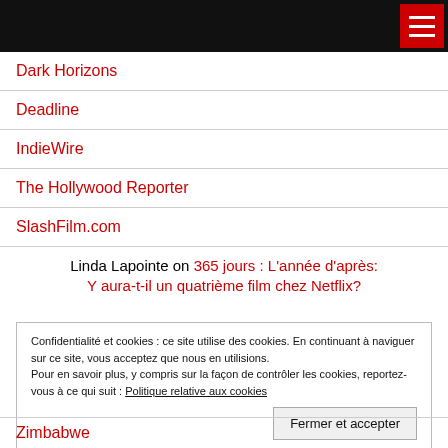Dark Horizons
Deadline
IndieWire
The Hollywood Reporter
SlashFilm.com
Linda Lapointe on 365 jours : L'année d'après: Y aura-t-il un quatrième film chez Netflix?
Confidentialité et cookies : ce site utilise des cookies. En continuant à naviguer sur ce site, vous acceptez que nous en utilisions.
Pour en savoir plus, y compris sur la façon de contrôler les cookies, reportez-vous à ce qui suit : Politique relative aux cookies
Fermer et accepter
Zimbabwe